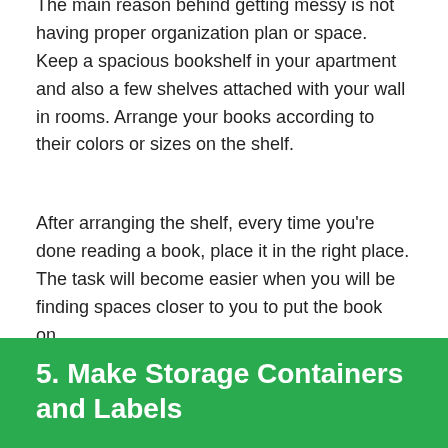The main reason behind getting messy is not having proper organization plan or space. Keep a spacious bookshelf in your apartment and also a few shelves attached with your wall in rooms. Arrange your books according to their colors or sizes on the shelf.
After arranging the shelf, every time you're done reading a book, place it in the right place. The task will become easier when you will be finding spaces closer to you to put the book on.
If you feel lazy to put the book on the big shelf, then just leave it on the small attached shelves to your wall. Practice it for a few times and you will get habituated to it.
5. Make Storage Containers and Labels